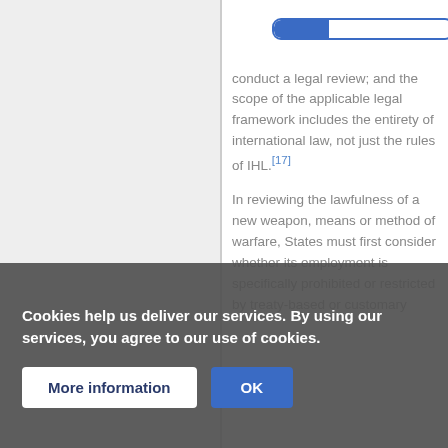[Figure (other): A horizontal progress bar with blue fill on the left portion and white/empty on the right, bordered in blue, with rounded corners.]
conduct a legal review; and the scope of the applicable legal framework includes the entirety of international law, not just the rules of IHL.[17]
In reviewing the lawfulness of a new weapon, means or method of warfare, States must first consider whether its employment is specifically prohibited or restricted by treaty-based or customary [IHL]. If no such right prohibitions of this kind exist with respect to cyber[...] this may well
Cookies help us deliver our services. By using our services, you agree to our use of cookies.